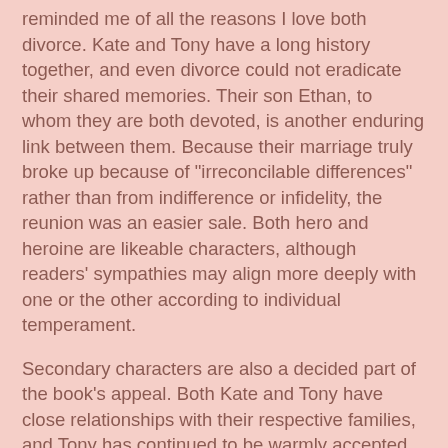reminded me of all the reasons I love both divorce. Kate and Tony have a long history together, and even divorce could not eradicate their shared memories. Their son Ethan, to whom they are both devoted, is another enduring link between them. Because their marriage truly broke up because of "irreconcilable differences" rather than from indifference or infidelity, the reunion was an easier sale. Both hero and heroine are likeable characters, although readers' sympathies may align more deeply with one or the other according to individual temperament.
Secondary characters are also a decided part of the book's appeal. Both Kate and Tony have close relationships with their respective families, and Tony has continued to be warmly accepted by Kate's family even in the post-divorce years. Thirteen-year-old Ethan is a delight. His love of sports, his fondness for technology, his affection for his family (pet included), and the growing importance of friendships in his life all reminded me of the thirteen-year-old I know best.
Fans of the series will be pleased with the appearance of characters from earlier books, but readers new to the series